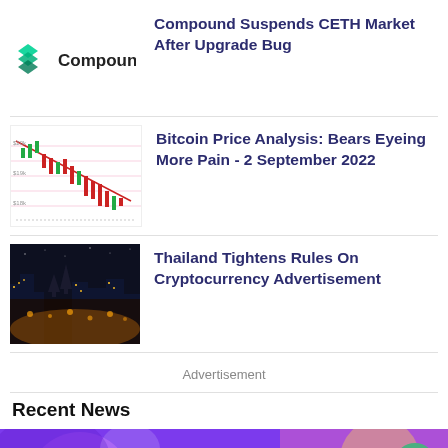[Figure (logo): Compound logo with green layered diamond icon and 'Compound' text]
Compound Suspends CETH Market After Upgrade Bug
[Figure (screenshot): Bitcoin price chart showing bearish candlestick pattern with downtrend line]
Bitcoin Price Analysis: Bears Eyeing More Pain - 2 September 2022
[Figure (photo): Night cityscape photo of Bangkok Thailand with city lights]
Thailand Tightens Rules On Cryptocurrency Advertisement
Advertisement
Recent News
[Figure (photo): Partial view of colorful purple and yellow illustration/graphic for a recent news item]